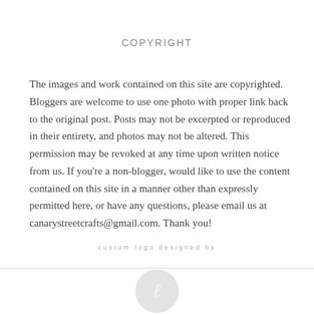COPYRIGHT
The images and work contained on this site are copyrighted. Bloggers are welcome to use one photo with proper link back to the original post. Posts may not be excerpted or reproduced in their entirety, and photos may not be altered. This permission may be revoked at any time upon written notice from us. If you're a non-blogger, would like to use the content contained on this site in a manner other than expressly permitted here, or have any questions, please email us at canarystreetcrafts@gmail.com. Thank you!
custom logo designed by
[Figure (logo): Circular logo design, light gray, with a stylized script letter or flourish in white, partially visible at bottom of page]